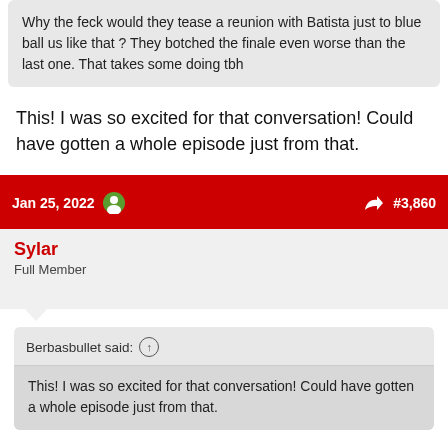Why the feck would they tease a reunion with Batista just to blue ball us like that ? They botched the finale even worse than the last one. That takes some doing tbh
This! I was so excited for that conversation! Could have gotten a whole episode just from that.
Jan 25, 2022  #3,860
Sylar
Full Member
Berbasbullet said: ↑
This! I was so excited for that conversation! Could have gotten a whole episode just from that.